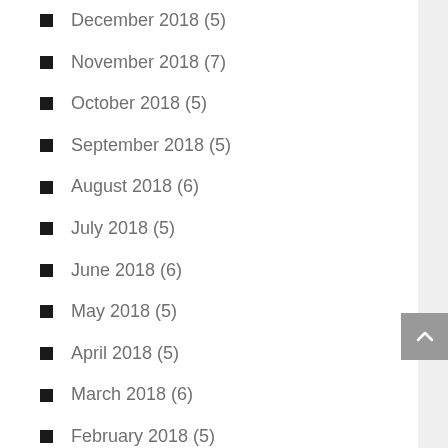December 2018 (5)
November 2018 (7)
October 2018 (5)
September 2018 (5)
August 2018 (6)
July 2018 (5)
June 2018 (6)
May 2018 (5)
April 2018 (5)
March 2018 (6)
February 2018 (5)
January 2018 (5)